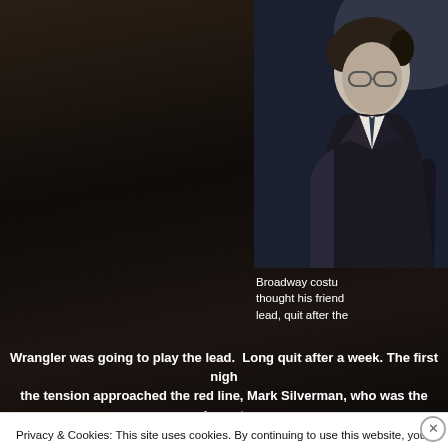[Figure (photo): A man in a dark suit with glasses and curly hair, photographed from the side/profile, against a dark background. Only upper body visible.]
Broadway costu thought his friend lead, quit after the
Wrangler was going to play the lead.  Long quit after a week. The first nigh the tension approached the red line, Mark Silverman, who was the lowest shouting parties and said, “Hey, do either of you two assholes want coffe
Privacy & Cookies: This site uses cookies. By continuing to use this website, you agree to their use.
To find out more, including how to control cookies, see here: Cookie Policy
Close and accept